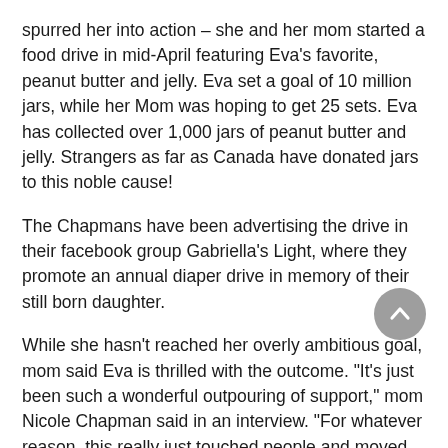spurred her into action – she and her mom started a food drive in mid-April featuring Eva's favorite, peanut butter and jelly. Eva set a goal of 10 million jars, while her Mom was hoping to get 25 sets. Eva has collected over 1,000 jars of peanut butter and jelly. Strangers as far as Canada have donated jars to this noble cause!
The Chapmans have been advertising the drive in their facebook group Gabriella's Light, where they promote an annual diaper drive in memory of their still born daughter.
While she hasn't reached her overly ambitious goal, mom said Eva is thrilled with the outcome. "It's just been such a wonderful outpouring of support," mom Nicole Chapman said in an interview. "For whatever reason, this really just touched people and moved them. I'm very proud of her. She has a huge heart."
Eva's PB&J campaign has been featured on local and national